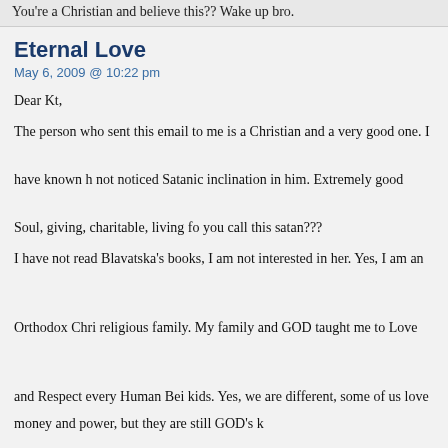You're a Christian and believe this?? Wake up bro.
Eternal Love
May 6, 2009 @ 10:22 pm
Dear Kt,
The person who sent this email to me is a Christian and a very good one. I have known him and not noticed Satanic inclination in him. Extremely good Soul, giving, charitable, living for others. Do you call this satan???
I have not read Blavatska’s books, I am not interested in her. Yes, I am an Orthodox Christian from a religious family. My family and GOD taught me to Love and Respect every Human Being as God’s kids. Yes, we are different, some of us love money and power, but they are still GOD’s kids.
Love your enemy… Of course I do not know how I could love our bankers/gangsters brothers, but God and my family taught me this.
“The fact that you saw some light does not mean it comes from God you could be under deception”
Dear Kt, I respect your opinion and think you are also a good Christian, ready to give your life for Christ. But how do you know that the Beautiful Unearthly Light, I saw, does not come from GOD?
And yes, you are right we all need to wake up at some point. I will be away for a couple of days on a retreat. When I come back we could have a very interesting discussion.
Lots of Love,